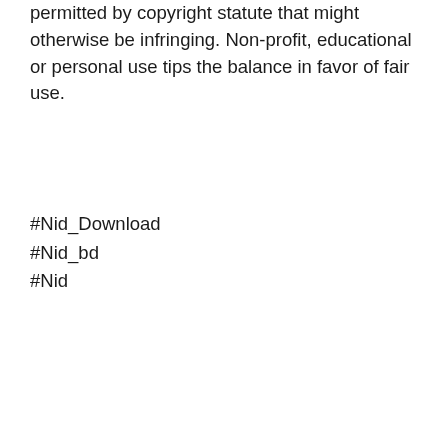permitted by copyright statute that might otherwise be infringing. Non-profit, educational or personal use tips the balance in favor of fair use.
#Nid_Download
#Nid_bd
#Nid